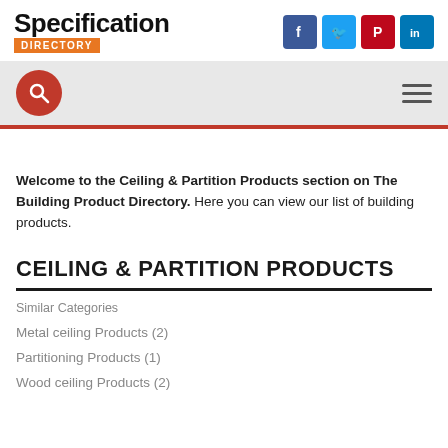Specification DIRECTORY
Welcome to the Ceiling & Partition Products section on The Building Product Directory. Here you can view our list of building products.
CEILING & PARTITION PRODUCTS
Similar Categories
Metal ceiling Products (2)
Partitioning Products (1)
Wood ceiling Products (2)